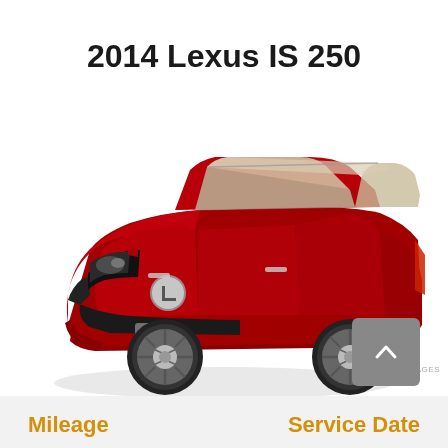2014 Lexus IS 250
[Figure (photo): Red 2014 Lexus IS 250 sedan, three-quarter front view, shown on white background]
PREVOX IMAGES
Mileage
Service Date